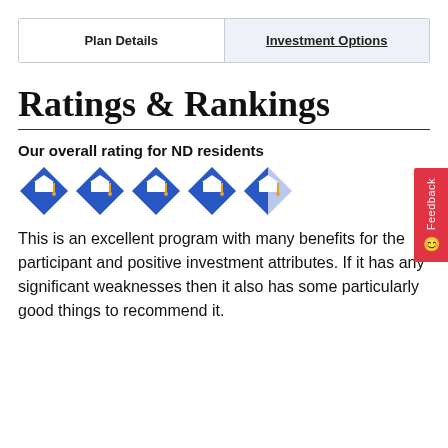Plan Details | Investment Options
Ratings & Rankings
Our overall rating for ND residents
[Figure (other): Five graduation cap diamond icons in blue, the last one partially filled, representing a 4.5 out of 5 star rating]
This is an excellent program with many benefits for the participant and positive investment attributes. If it has any significant weaknesses then it also has some particularly good things to recommend it.